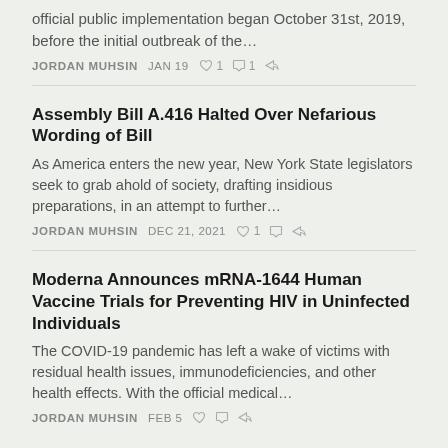official public implementation began October 31st, 2019, before the initial outbreak of the…
JORDAN MUHSIN   JAN 19   ♡ 1   ○ 1   share
Assembly Bill A.416 Halted Over Nefarious Wording of Bill
As America enters the new year, New York State legislators seek to grab ahold of society, drafting insidious preparations, in an attempt to further…
JORDAN MUHSIN   DEC 21, 2021   ♡ 1   ○   share
Moderna Announces mRNA-1644 Human Vaccine Trials for Preventing HIV in Uninfected Individuals
The COVID-19 pandemic has left a wake of victims with residual health issues, immunodeficiencies, and other health effects. With the official medical…
JORDAN MUHSIN   FEB 5   ♡   ○   share